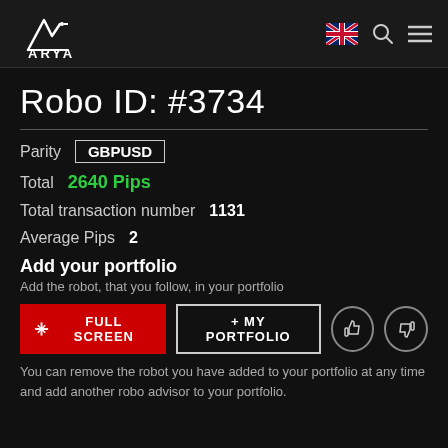ARYA
Robo ID: #3734
Parity   GBPUSD
Total   2640 Pips
Total transaction number   1131
Average Pips   2
Add your portfolio
Add the robot, that you follow, in your portfolio
FULL SCREEN   MY PORTFOLIO
You can remove the robot you have added to your portfolio at any time and add another robo advisor to your portfolio.